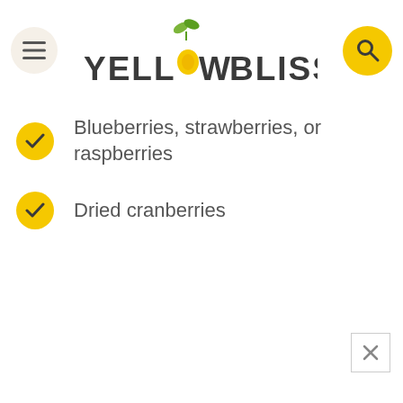Yellow Bliss Road
Blueberries, strawberries, or raspberries
Dried cranberries